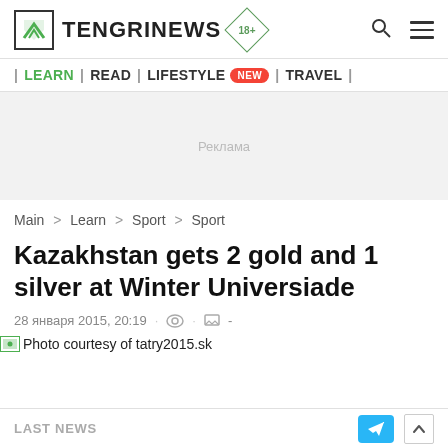TENGRINEWS 18+
| LEARN | READ | LIFESTYLE NEW | TRAVEL |
[Figure (other): Advertisement placeholder area with Реклама label]
Main > Learn > Sport > Sport
Kazakhstan gets 2 gold and 1 silver at Winter Universiade
28 января 2015, 20:19 · ◎ · ☐ -
Photo courtesy of tatry2015.sk
LAST NEWS